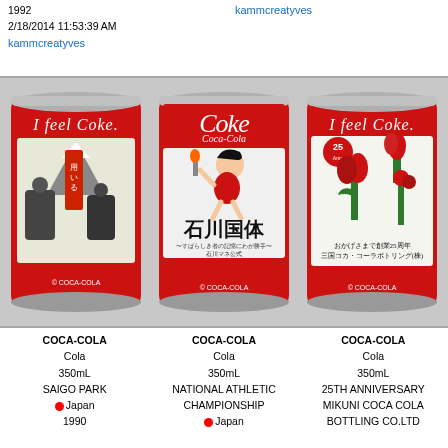1992
2/18/2014 11:53:39 AM
kammcreatyves
kammcreatyves
[Figure (photo): Three red Coca-Cola 350mL cans from Japan. Left can: 'I feel Coke' with Japanese manga art showing two figures and Mt. Fuji, Saigo Park. Center can: 'Coke' Coca-Cola logo with anime character holding torch, National Athletic Championship Ishikawa. Right can: 'I feel Coke' with flowers/tulips, 25th Anniversary Mikuni Coca Cola Bottling Co.]
COCA-COLA
Cola
350mL
SAIGO PARK
● Japan
1990
COCA-COLA
Cola
350mL
NATIONAL ATHLETIC CHAMPIONSHIP
● Japan
COCA-COLA
Cola
350mL
25TH ANNIVERSARY MIKUNI COCA COLA BOTTLING CO.LTD